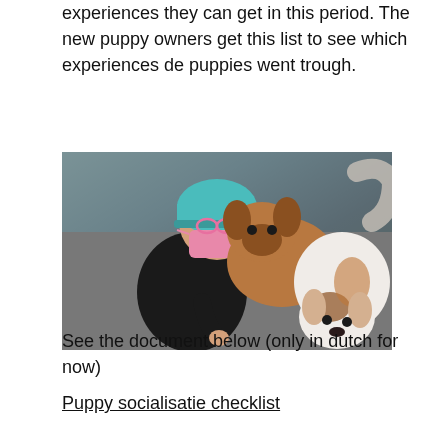experiences they can get in this period. The new puppy owners get this list to see which experiences de puppies went trough.
[Figure (photo): A young child wearing a teal surgical cap and pink medical mask, dressed in a black top, interacting with two French Bulldog puppies on a grey couch. One puppy is brown/tan and the other is white with brown patches.]
See the document below (only in dutch for now)
Puppy socialisatie checklist